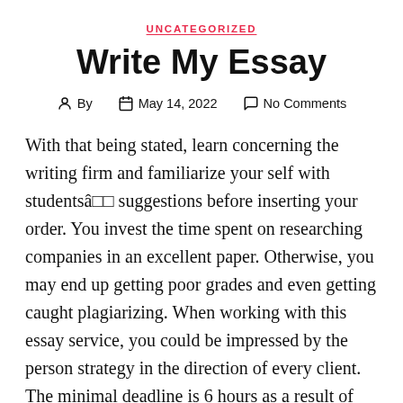UNCATEGORIZED
Write My Essay
By  May 14, 2022  No Comments
With that being stated, learn concerning the writing firm and familiarize your self with studentsâ□□ suggestions before inserting your order. You invest the time spent on researching companies in an excellent paper. Otherwise, you may end up getting poor grades and even getting caught plagiarizing. When working with this essay service, you could be impressed by the person strategy in the direction of every client. The minimal deadline is 6 hours as a result of they want to perceive their customersâ□□ must craft a first-class assignment. All